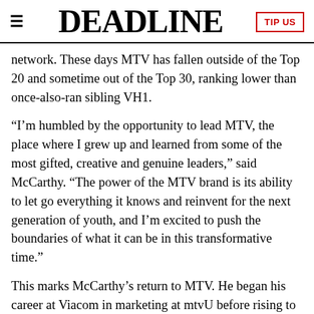DEADLINE
network. These days MTV has fallen outside of the Top 20 and sometime out of the Top 30, ranking lower than once-also-ran sibling VH1.
“I’m humbled by the opportunity to lead MTV, the place where I grew up and learned from some of the most gifted, creative and genuine leaders,” said McCarthy. “The power of the MTV brand is its ability to let go everything it knows and reinvent for the next generation of youth, and I’m excited to push the boundaries of what it can be in this transformative time.”
This marks McCarthy’s return to MTV. He began his career at Viacom in marketing at mtvU before rising to General Manager for the college network. He then served as EVP for MTV, overseeing strategy, planning, and tentpole events, before being promoted to GM of MTV’s digital networks, leading Logo and MTV2 to a ratings upswing before he took over VH1 in August 2015 in